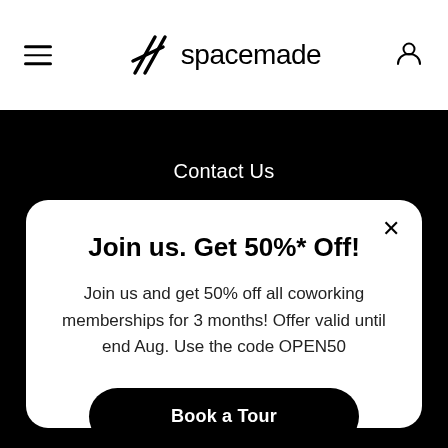spacemade
Contact Us
About Us
FAQs
Join us. Get 50%* Off!
Join us and get 50% off all coworking memberships for 3 months! Offer valid until end Aug. Use the code OPEN50
Book a Tour